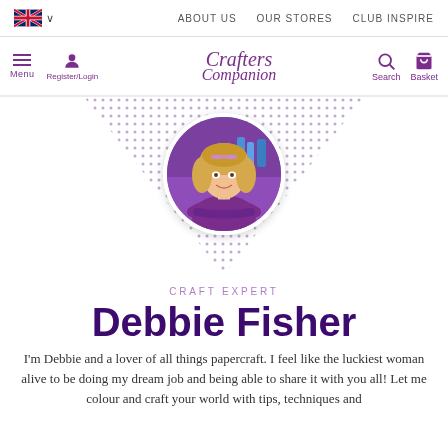ABOUT US  OUR STORES  CLUB INSPIRE
[Figure (screenshot): Website navigation bar with Crafters Companion logo, menu, register/login, search and basket icons]
[Figure (photo): Circular profile photo of Debbie Fisher, a woman with blonde hair wearing a purple top, against a dotted fan-shaped background]
CRAFT EXPERT
Debbie Fisher
I'm Debbie and a lover of all things papercraft. I feel like the luckiest woman alive to be doing my dream job and being able to share it with you all! Let me colour and craft your world with tips, techniques and